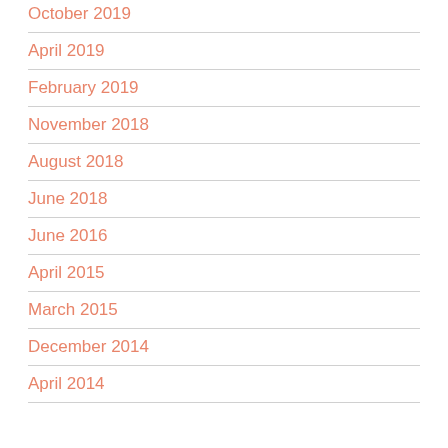October 2019
April 2019
February 2019
November 2018
August 2018
June 2018
June 2016
April 2015
March 2015
December 2014
April 2014